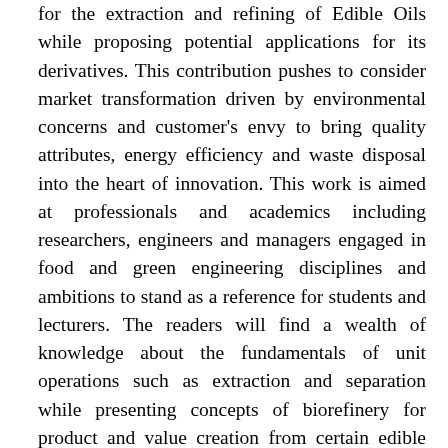for the extraction and refining of Edible Oils while proposing potential applications for its derivatives. This contribution pushes to consider market transformation driven by environmental concerns and customer's envy to bring quality attributes, energy efficiency and waste disposal into the heart of innovation. This work is aimed at professionals and academics including researchers, engineers and managers engaged in food and green engineering disciplines and ambitions to stand as a reference for students and lecturers. The readers will find a wealth of knowledge about the fundamentals of unit operations such as extraction and separation while presenting concepts of biorefinery for product and value creation from certain edible seeds. Novelties includes novel approaches for green solvent development in extraction, and examples of life cycle assessment of production systems for certain vegetable oils comprising product, service and waste management systems. Furthermore, this book focuses attention to